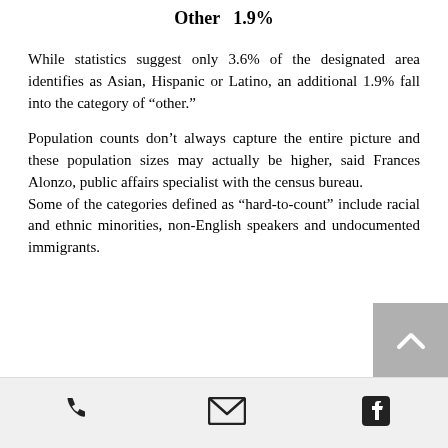Other  1.9%
While statistics suggest only 3.6% of the designated area identifies as Asian, Hispanic or Latino, an additional 1.9% fall into the category of “other.”
Population counts don’t always capture the entire picture and these population sizes may actually be higher, said Frances Alonzo, public affairs specialist with the census bureau. Some of the categories defined as “hard-to-count” include racial and ethnic minorities, non-English speakers and undocumented immigrants.
[Figure (other): Scroll-to-top button with upward chevron arrow, grey background, positioned at right side of page above footer]
[Figure (other): Footer bar with three icons: phone handset icon, email envelope icon, Facebook logo icon]